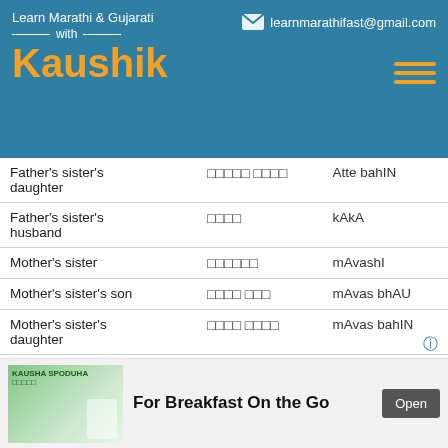Learn Marathi & Gujarati with Kaushik | learnmarathifast@gmail.com
| English | Marathi/Gujarati | Transliteration |
| --- | --- | --- |
| Father's sister's daughter | □□□□□ □□□□ | Atte bahIN |
| Father's sister's husband | □□□□ | kAkA |
| Mother's sister | □□□□□□ | mAvashI |
| Mother's sister's son | □□□□ □□□ | mAvas bhAU |
| Mother's sister's daughter | □□□□ □□□□ | mAvas bahIN |
| Mother's sister's husband | □□□□ / □□□□□□ | kAkA / mAvasA |
| Great grand father | □□□□□□□ | paNajobA |
| grand mother | □□□□ | paNajI |
For Breakfast On the Go
Open